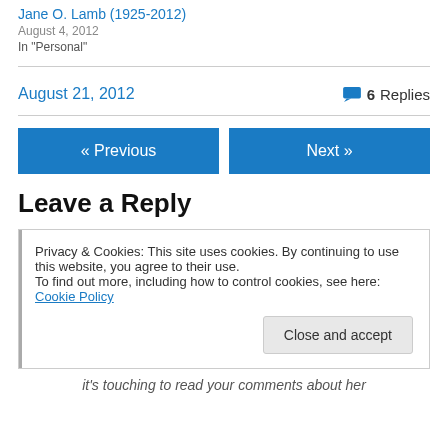Jane O. Lamb (1925-2012)
August 4, 2012
In "Personal"
August 21, 2012   6 Replies
« Previous
Next »
Leave a Reply
Privacy & Cookies: This site uses cookies. By continuing to use this website, you agree to their use.
To find out more, including how to control cookies, see here: Cookie Policy
Close and accept
it's touching to read your comments about her